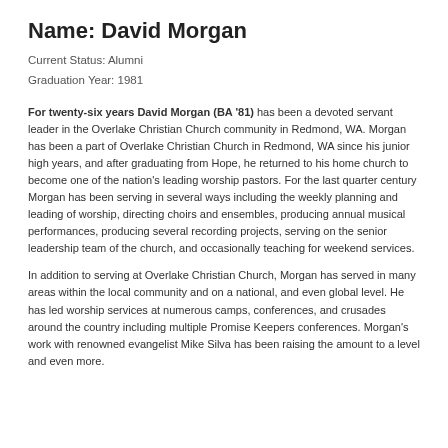Name: David Morgan
Current Status: Alumni
Graduation Year: 1981
For twenty-six years David Morgan (BA '81) has been a devoted servant leader in the Overlake Christian Church community in Redmond, WA. Morgan has been a part of Overlake Christian Church in Redmond, WA since his junior high years, and after graduating from Hope, he returned to his home church to become one of the nation's leading worship pastors. For the last quarter century Morgan has been serving in several ways including the weekly planning and leading of worship, directing choirs and ensembles, producing annual musical performances, producing several recording projects, serving on the senior leadership team of the church, and occasionally teaching for weekend services.
In addition to serving at Overlake Christian Church, Morgan has served in many areas within the local community and on a national, and even global level. He has led worship services at numerous camps, conferences, and crusades around the country including multiple Promise Keepers conferences. Morgan's work with renowned evangelist Mike Silva has been raising the amount to a level and even more.